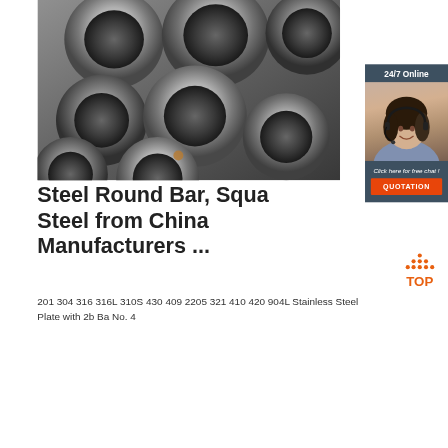[Figure (photo): Close-up photograph of multiple stainless steel round pipes/tubes arranged in a bundle, viewed from the end, showing circular cross-sections. Grey metallic tones.]
[Figure (photo): Sidebar overlay with dark teal background showing '24/7 Online' text, a photo of a female customer service representative wearing a headset and smiling, 'Click here for free chat!' italic text, and an orange 'QUOTATION' button.]
Steel Round Bar, Square Steel from China Manufacturers ...
[Figure (logo): Orange 'TOP' icon with upward arrow triangle made of dots above the text 'TOP' in orange.]
201 304 316 316L 310S 430 409 2205 321 410 420 904L Stainless Steel Plate with 2b Ba No. 4